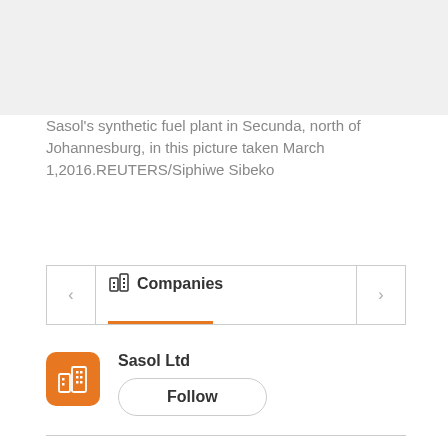Sasol's synthetic fuel plant in Secunda, north of Johannesburg, in this picture taken March 1,2016.REUTERS/Siphiwe Sibeko
[Figure (infographic): Companies navigation widget showing 'Companies' tab with building icon, left and right arrow navigation buttons, and an orange underline indicator]
Sasol Ltd
Follow
JOHANNESBURG, May 24 (Reuters) - Sasol Ltd (SOLJ.J) and Germany's Helmholtz-Zentrum Berlin (HZB) have agreed to conduct research into substances to help produce sustainable aviation fuel on a commercial scale, the South African company